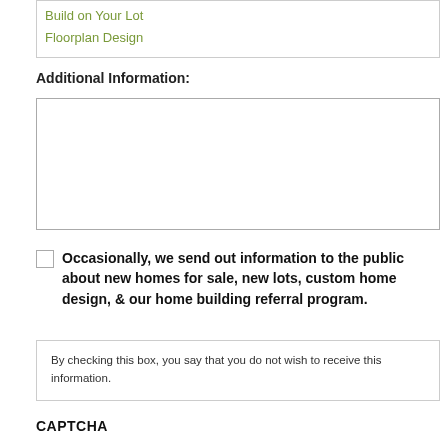Build on Your Lot
Floorplan Design
Additional Information:
[Figure (other): Empty textarea for additional information input]
Occasionally, we send out information to the public about new homes for sale, new lots, custom home design, & our home building referral program.
By checking this box, you say that you do not wish to receive this information.
CAPTCHA